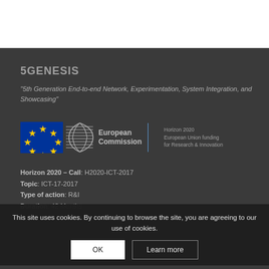5GENESIS
“5th Generation End-to-end Network, Experimentation, System Integration, and Showcasing”
[Figure (logo): European Commission logo with EU flag and Horizon 2020 European Union funding for Research & Innovation text]
Horizon 2020 – Call: H2020-ICT-2017
Topic: ICT-17-2017
Type of action: R&I
Duration: 42 Months
This site uses cookies. By continuing to browse the site, you are agreeing to our use of cookies.
THIS PROJECT IS PART OF THE 5G PUBLIC PRIVATE PARTNERSHIP
WWW.5G-PPP.EU